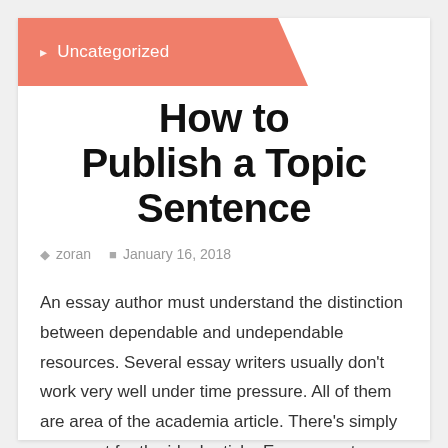Uncategorized
How to Publish a Topic Sentence
zoran   January 16, 2018
An essay author must understand the distinction between dependable and undependable resources. Several essay writers usually don't work very well under time pressure. All of them are area of the academia article. There's simply no secret for the ideal article. Every report, article, or term paper must have the ability to be described within a stage. This description will let you know much more regarding the